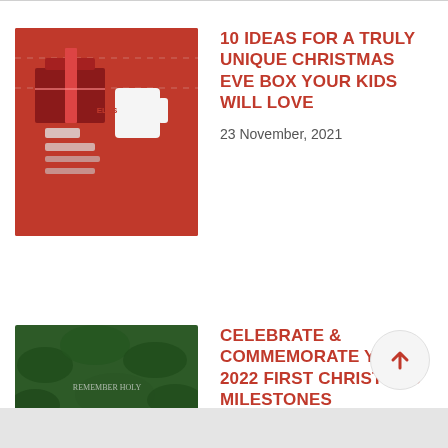[Figure (photo): Christmas Eve box thumbnail with red gift items and candy cane decorations]
10 IDEAS FOR A TRULY UNIQUE CHRISTMAS EVE BOX YOUR KIDS WILL LOVE
23 November, 2021
[Figure (photo): Dark green foliage background with white script text reading 'first Christmas memories']
CELEBRATE & COMMEMORATE YOUR 2022 FIRST CHRISTMAS MILESTONES
20 November, 2021